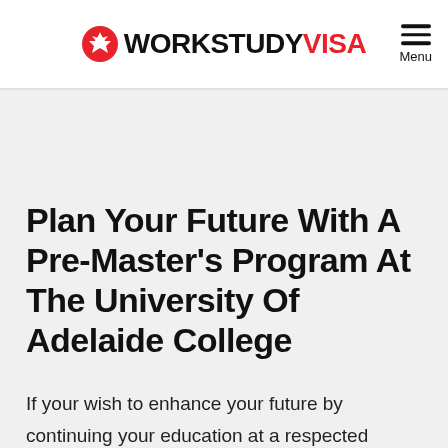WORKSTUDY VISA
Plan Your Future With A Pre-Master’s Program At The University Of Adelaide College
If your wish to enhance your future by continuing your education at a respected